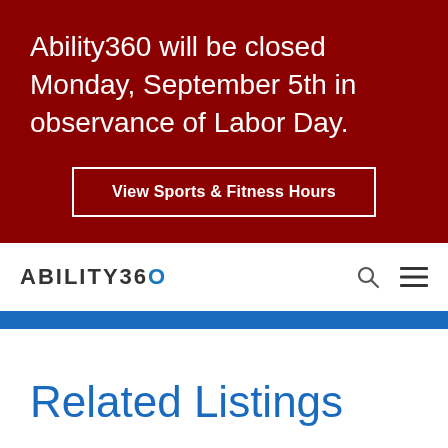Ability360 will be closed Monday, September 5th in observance of Labor Day.
View Sports & Fitness Hours
[Figure (logo): Ability360 logo with blue circular arrow on the '0' character, with search icon and hamburger menu icon]
Related Listings